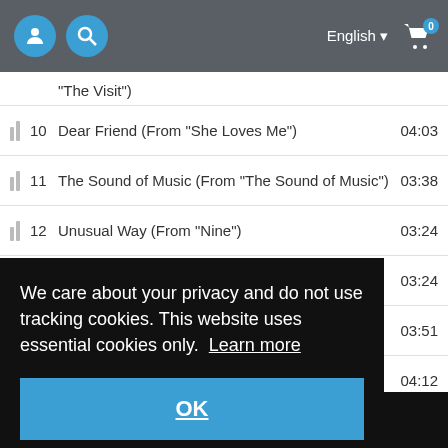[Figure (screenshot): Navigation bar with user icon, search icon, English language selector, and shopping cart with 0 items]
|  | # | Title | Duration |
| --- | --- | --- | --- |
|  |  | "The Visit") |  |
| ▐▐ | 10 | Dear Friend (From "She Loves Me") | 04:03 |
| ▐▐ | 11 | The Sound of Music (From "The Sound of Music") | 03:38 |
| ▐▐ | 12 | Unusual Way (From "Nine") | 03:24 |
| ▐▐ | 13 | Till There Was You (From "The Music Man") | 03:24 |
| ▐▐ | 14 | The Glamorous Life (From "A Little Night Music") | 03:51 |
|  |  |  | 04:12 |
|  |  |  | 03:19 |
|  |  |  | 04:24 |
|  |  |  | :03:47 |
We care about your privacy and do not use tracking cookies. This website uses essential cookies only.  Learn more
OK